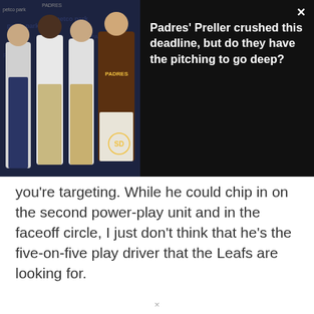[Figure (photo): Dark overlay ad banner showing four men posing for a photo at what appears to be a Padres (San Diego baseball team) promotional event. The rightmost man wears a brown Padres jersey. Background has Padres and Petco Park branding.]
Padres' Preller crushed this deadline, but do they have the pitching to go deep?
you're targeting. While he could chip in on the second power-play unit and in the faceoff circle, I just don't think that he's the five-on-five play driver that the Leafs are looking for.
×